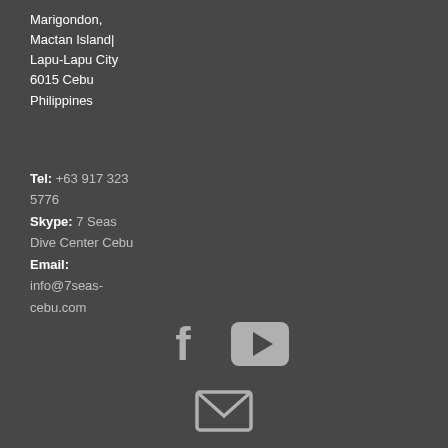Marigondon, Mactan Island| Lapu-Lapu City 6015 Cebu Philippines
Tel: +63 917 323 5776
Skype: 7 Seas Dive Center Cebu
Email:
info@7seas-cebu.com
[Figure (illustration): Social media icons: Facebook logo (f), YouTube play button icon, and an envelope/email icon]